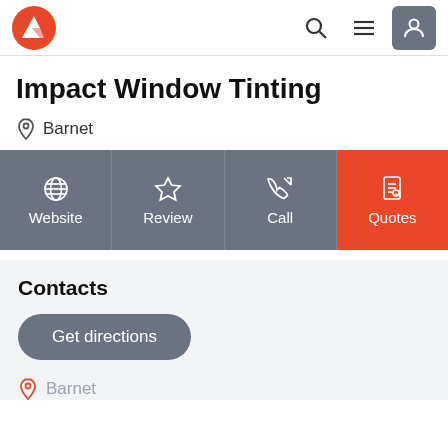Impact Window Tinting — navigation header with logo, search, menu, and user icons
Impact Window Tinting
Barnet
[Figure (screenshot): Four action buttons: Website (globe icon), Review (star icon), Call (phone icon), Quotes (document icon, orange background)]
Contacts
Get directions
Barnet